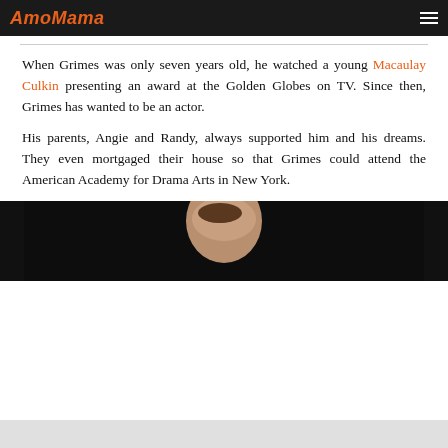AmoMama
When Grimes was only seven years old, he watched a young Macaulay Culkin presenting an award at the Golden Globes on TV. Since then, Grimes has wanted to be an actor.
His parents, Angie and Randy, always supported him and his dreams. They even mortgaged their house so that Grimes could attend the American Academy for Drama Arts in New York.
[Figure (photo): Partial photo of a man's face against a dark background, visible from forehead to chin.]